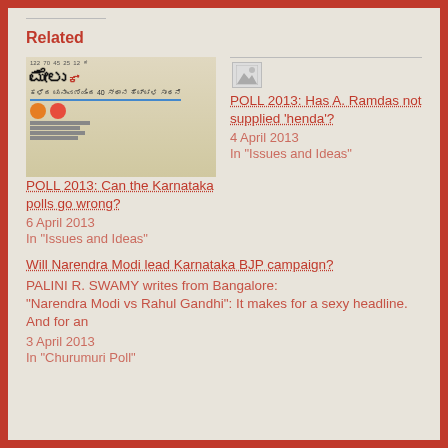Related
[Figure (photo): Newspaper page in Kannada script showing poll/election results]
POLL 2013: Can the Karnataka polls go wrong?
6 April 2013
In "Issues and Ideas"
[Figure (photo): Broken/placeholder image icon]
POLL 2013: Has A. Ramdas not supplied ‘henda’?
4 April 2013
In "Issues and Ideas"
Will Narendra Modi lead Karnataka BJP campaign?
PALINI R. SWAMY writes from Bangalore:
"Narendra Modi vs Rahul Gandhi": It makes for a sexy headline. And for an
3 April 2013
In "Churumuri Poll"